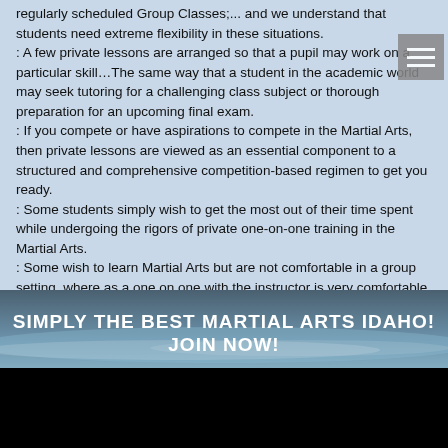regularly scheduled Group Classes;... and we understand that students need extreme flexibility in these situations.
: A few private lessons are arranged so that a pupil may work on a particular skill…The same way that a student in the academic world may seek tutoring for a challenging class subject or thorough preparation for an upcoming final exam.
: If you compete or have aspirations to compete in the Martial Arts, then private lessons are viewed as an essential component to a structured and comprehensive competition-based regimen to get you ready.
: Some students simply wish to get the most out of their time spent while undergoing the rigors of private one-on-one training in the Martial Arts.
: Some wish to learn Martial Arts but are not comfortable in a group setting, where as a one on one with the instructor is very comfortable.

If you are interested in Private Lessons please call the Martial Arts Academy at (208)542-4425 to schedule a 30 min or 1 hour session.
[Figure (photo): Rocky coastal beach scene with ocean waves, rocks in foreground, and a dark silhouette at the bottom. Banner overlay reads: SIMPLY THE BEST MARTIAL ARTS IDAHO! JOIN NOW!]
SIMPLY THE BEST MARTIAL ARTS IDAHO! JOIN NOW!